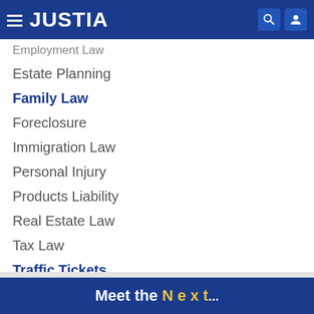JUSTIA
Employment Law (truncated)
Estate Planning
Family Law
Foreclosure
Immigration Law
Personal Injury
Products Liability
Real Estate Law
Tax Law
Traffic Tickets
Workers' Comp
Show More Practice Areas »
Meet the Next...